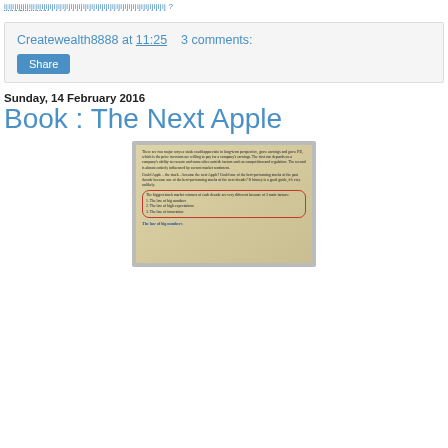ijijijijijijijijijijijijijijijijijijijijijijijijijijijijijijijijijijijijij ?
Createwealth8888 at 11:25    3 comments:
Share
Sunday, 14 February 2016
Book : The Next Apple
[Figure (photo): Photograph of an open book page showing text about stock market winners and 3 main factors: 1. The law of big numbers, 2. The law of high expectations, 3. The law of innovation. A red circle is drawn around these three items. The section heading 'The law of big numbers' appears at the bottom in blue.]